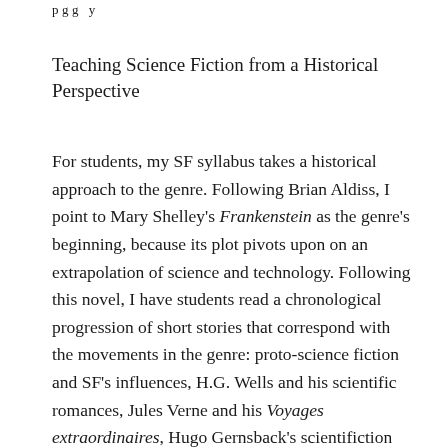p g g y
Teaching Science Fiction from a Historical Perspective
For students, my SF syllabus takes a historical approach to the genre. Following Brian Aldiss, I point to Mary Shelley's Frankenstein as the genre's beginning, because its plot pivots upon on an extrapolation of science and technology. Following this novel, I have students read a chronological progression of short stories that correspond with the movements in the genre: proto-science fiction and SF's influences, H.G. Wells and his scientific romances, Jules Verne and his Voyages extraordinaires, Hugo Gernsback's scientifiction and the pulps, John W. Campbell, Jr. and the Golden Age, the New Wave, Feminist SF…